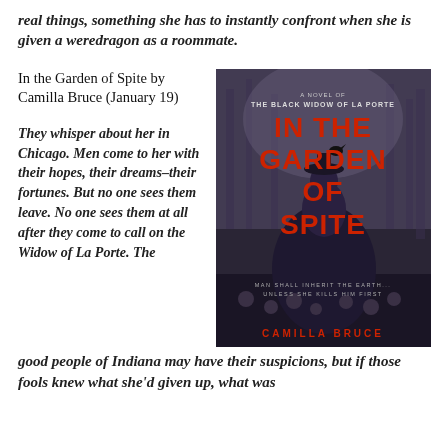real things, something she has to instantly confront when she is given a weredragon as a roommate.
In the Garden of Spite by Camilla Bruce (January 19)
They whisper about her in Chicago. Men come to her with their hopes, their dreams–their fortunes. But no one sees them leave. No one sees them at all after they come to call on the Widow of La Porte. The good people of Indiana may have their suspicions, but if those fools knew what she'd given up, what was
[Figure (photo): Book cover for 'In the Garden of Spite: A Novel of the Black Widow of La Porte' by Camilla Bruce. Dark atmospheric cover showing a woman in a Victorian black dress from behind, with large red text reading 'IN THE GARDEN OF SPITE'. Bottom text reads 'MAN SHALL INHERIT THE EARTH...UNLESS SHE KILLS HIM FIRST'. Author name CAMILLA BRUCE at the bottom.]